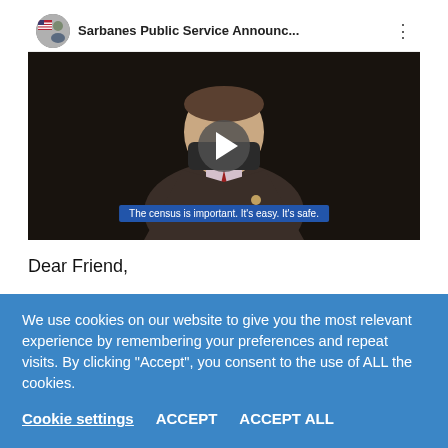[Figure (screenshot): YouTube-style embedded video showing a man in a suit and mask with title 'Sarbanes Public Service Announc...' and subtitle caption 'The census is important. It's easy. It's safe.']
Dear Friend,
We use cookies on our website to give you the most relevant experience by remembering your preferences and repeat visits. By clicking “Accept”, you consent to the use of ALL the cookies.
Cookie settings   ACCEPT   ACCEPT ALL